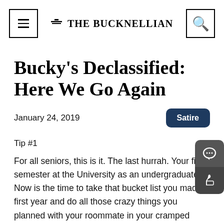THE BUCKNELLIAN
Bucky's Declassified: Here We Go Again
January 24, 2019
Satire
Tip #1
For all seniors, this is it. The last hurrah. Your final semester at the University as an undergraduate. Now is the time to take that bucket list you made first year and do all those crazy things you planned with your roommate in your cramped Smith Hall double. Play a